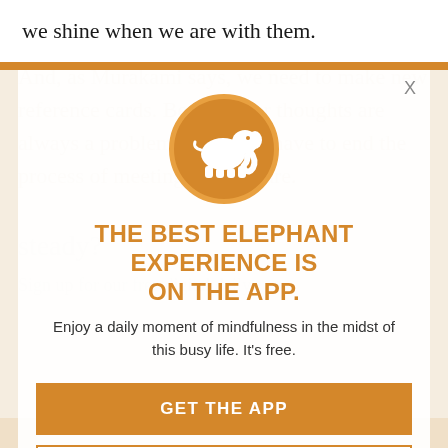we shine when we are with them.
[Figure (logo): Orange circle with white elephant silhouette logo]
THE BEST ELEPHANT EXPERIENCE IS ON THE APP.
Enjoy a daily moment of mindfulness in the midst of this busy life. It's free.
GET THE APP
OPEN IN APP